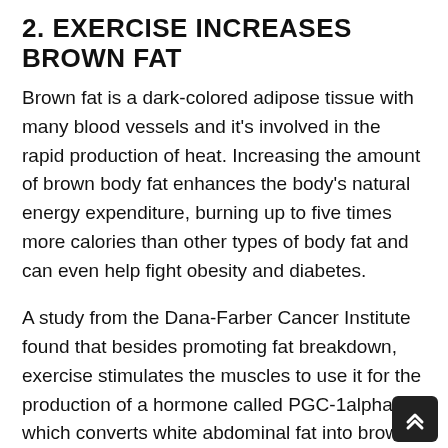2. EXERCISE INCREASES BROWN FAT
Brown fat is a dark-colored adipose tissue with many blood vessels and it's involved in the rapid production of heat. Increasing the amount of brown body fat enhances the body's natural energy expenditure, burning up to five times more calories than other types of body fat and can even help fight obesity and diabetes.
A study from the Dana-Farber Cancer Institute found that besides promoting fat breakdown, exercise stimulates the muscles to use it for the production of a hormone called PGC-1alpha, which converts white abdominal fat into brown fat, thereby triggering greater fat loss and enhancing overall health. That being said, this study also showed that heavy and high intensity